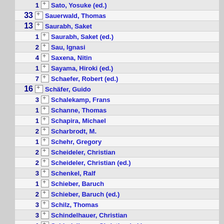1 Sato, Yosuke (ed.)
33 Sauerwald, Thomas
13 Saurabh, Saket
1 Saurabh, Saket (ed.)
2 Sau, Ignasi
4 Saxena, Nitin
1 Sayama, Hiroki (ed.)
7 Schaefer, Robert (ed.)
16 Schäfer, Guido
3 Schalekamp, Frans
1 Schanne, Thomas
1 Schapira, Michael
2 Scharbrodt, M.
1 Schehr, Gregory
2 Scheideler, Christian
2 Scheideler, Christian (ed.)
3 Schenkel, Ralf
1 Schieber, Baruch
2 Schieber, Baruch (ed.)
3 Schilz, Thomas
3 Schindelhauer, Christian
1 Schindelhauer, Christian (ed.)